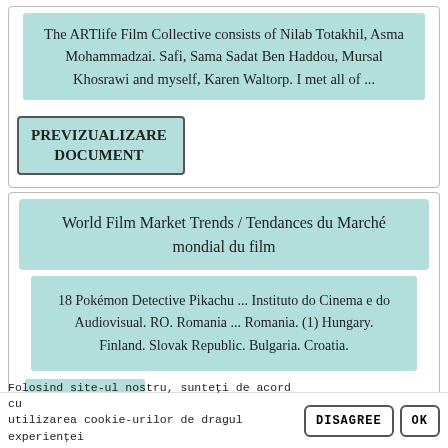The ARTlife Film Collective consists of Nilab Totakhil, Asma Mohammadzai. Safi, Sama Sadat Ben Haddou, Mursal Khosrawi and myself, Karen Waltorp. I met all of ...
PREVIZUALIZARE DOCUMENT
World Film Market Trends / Tendances du Marché mondial du film
18 Pokémon Detective Pikachu ... Instituto do Cinema e do Audiovisual. RO. Romania ... Romania. (1) Hungary. Finland. Slovak Republic. Bulgaria. Croatia.
Folosind site-ul nostru, sunteți de acord cu utilizarea cookie-urilor de dragul experienței din dreaptan.